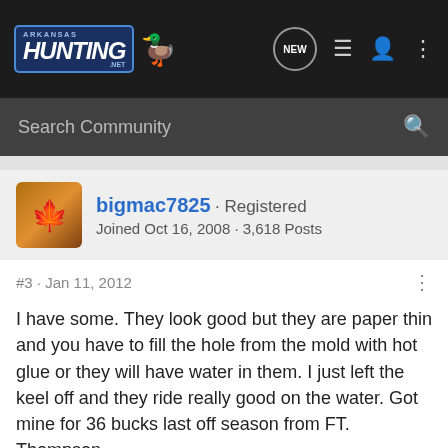[Figure (screenshot): Arkansas Hunting .net logo with duck icon in dark blue/teal]
Search Community
bigmac7825 · Registered
Joined Oct 16, 2008 · 3,618 Posts
#3 · Jan 11, 2012
I have some. They look good but they are paper thin and you have to fill the hole from the mold with hot glue or they will have water in them. I just left the keel off and they ride really good on the water. Got mine for 36 bucks last off season from FT. Thompson.
mathews1012 · Registered